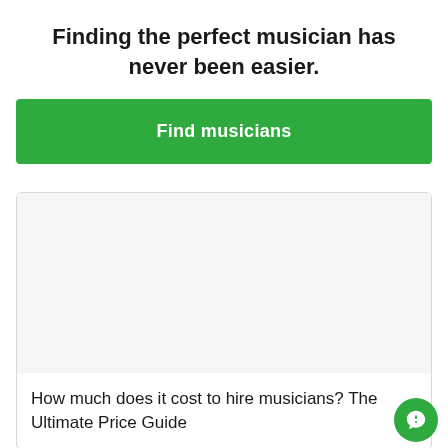Finding the perfect musician has never been easier.
Find musicians
[Figure (screenshot): Empty card image area with light gray background]
How much does it cost to hire musicians? The Ultimate Price Guide